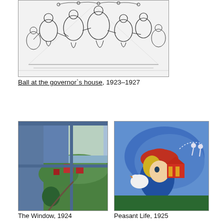[Figure (illustration): Black and white sketch/etching of a crowded ball or party scene with many figures dancing and socializing]
Ball at the governor`s house, 1923–1927
[Figure (illustration): Colorful painting viewed through an open window showing a green landscape with red buildings and sea in the background]
The Window, 1924
[Figure (illustration): Colorful painting of a peasant figure with a rooster, houses, and dancing figures in blue sky background]
Peasant Life, 1925